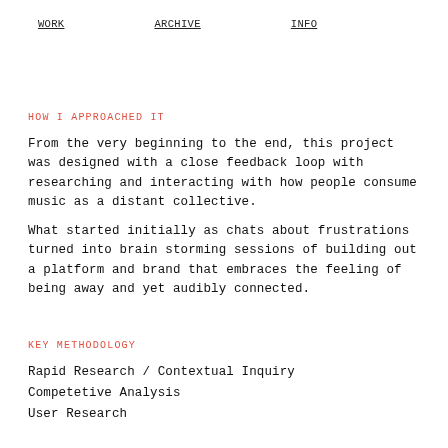WORK   ARCHIVE   INFO
HOW I APPROACHED IT
From the very beginning to the end, this project was designed with a close feedback loop with researching and interacting with how people consume music as a distant collective.
What started initially as chats about frustrations turned into brain storming sessions of building out a platform and brand that embraces the feeling of being away and yet audibly connected.
KEY METHODOLOGY
Rapid Research / Contextual Inquiry
Competetive Analysis
User Research